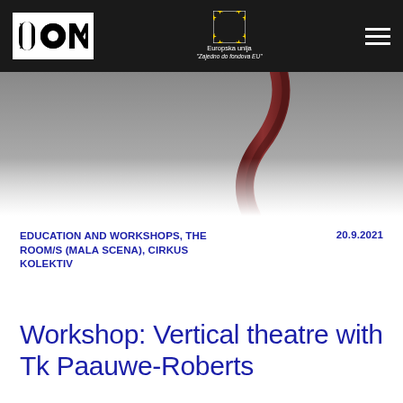IOM | Europska unija 'Zajedno do fondova EU'
[Figure (photo): Hero image showing an aerial performer with a dark rope/silk against a grey background]
EDUCATION AND WORKSHOPS, THE ROOM/S (MALA SCENA), CIRKUS KOLEKTIV
20.9.2021
Workshop: Vertical theatre with Tk Paauwe-Roberts